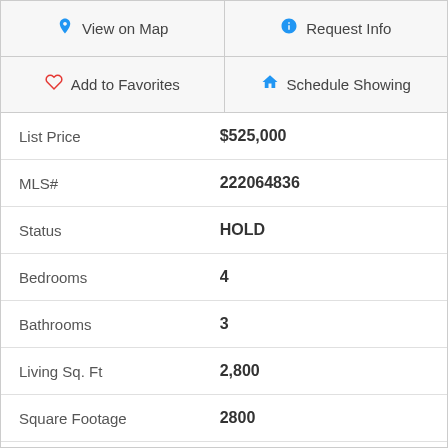| 🗺 View on Map | ℹ Request Info |
| ♡ Add to Favorites | ⌂ Schedule Showing |
| Field | Value |
| --- | --- |
| List Price | $525,000 |
| MLS# | 222064836 |
| Status | HOLD |
| Bedrooms | 4 |
| Bathrooms | 3 |
| Living Sq. Ft | 2,800 |
| Square Footage | 2800 |
| Type | Single Family Residential |